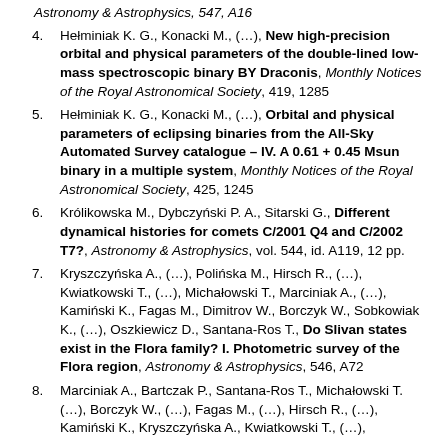Hełminiak K. G., Konacki M., (…), New high-precision orbital and physical parameters of the double-lined low-mass spectroscopic binary BY Draconis, Monthly Notices of the Royal Astronomical Society, 419, 1285
Hełminiak K. G., Konacki M., (…), Orbital and physical parameters of eclipsing binaries from the All-Sky Automated Survey catalogue – IV. A 0.61 + 0.45 Msun binary in a multiple system, Monthly Notices of the Royal Astronomical Society, 425, 1245
Królikowska M., Dybczyński P. A., Sitarski G., Different dynamical histories for comets C/2001 Q4 and C/2002 T7?, Astronomy & Astrophysics, vol. 544, id. A119, 12 pp.
Kryszczyńska A., (…), Polińska M., Hirsch R., (…), Kwiatkowski T., (…), Michałowski T., Marciniak A., (…), Kamiński K., Fagas M., Dimitrov W., Borczyk W., Sobkowiak K., (…), Oszkiewicz D., Santana-Ros T., Do Slivan states exist in the Flora family? I. Photometric survey of the Flora region, Astronomy & Astrophysics, 546, A72
Marciniak A., Bartczak P., Santana-Ros T., Michałowski T. (…), Borczyk W., (…), Fagas M., (…), Hirsch R., (…), Kamiński K., Kryszczyńska A., Kwiatkowski T., (…),